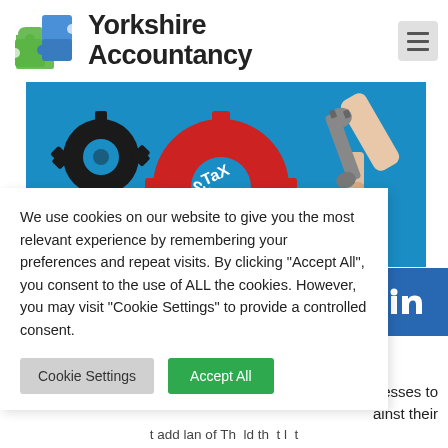[Figure (logo): Yorkshire Accountancy logo with puzzle pieces in green and blue, alongside bold text 'Yorkshire Accountancy']
[Figure (photo): Banner image showing gears and a wrench with 'Tax System' text on a red gear, blue background, hand holding wrench]
We use cookies on our website to give you the most relevant experience by remembering your preferences and repeat visits. By clicking "Accept All", you consent to the use of ALL the cookies. However, you may visit "Cookie Settings" to provide a controlled consent.
Cookie Settings | Accept All
[Figure (logo): LinkedIn icon in a blue square]
inesses to
ainst their
t add Ian of Th ld th t I t